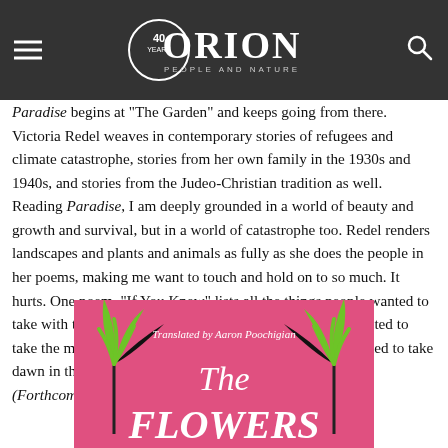Orion Magazine - 40 Years
Paradise begins at "The Garden" and keeps going from there. Victoria Redel weaves in contemporary stories of refugees and climate catastrophe, stories from her own family in the 1930s and 1940s, and stories from the Judeo-Christian tradition as well. Reading Paradise, I am deeply grounded in a world of beauty and growth and survival, but in a world of catastrophe too. Redel renders landscapes and plants and animals as fully as she does the people in her poems, making me want to touch and hold on to so much. It hurts. One poem, "If You Knew" lists all the things people wanted to take with them, but couldn't, when they left home: "He wanted to take the muddy stream where he sang with frogs./ She wanted to take dawn in the linden tree. . . . What would you take?" (Forthcoming from Four Way Books)
[Figure (photo): Book cover: The Flowers, translated by Aaron Poochigian, pink background with stylized green and black plant/flower designs]